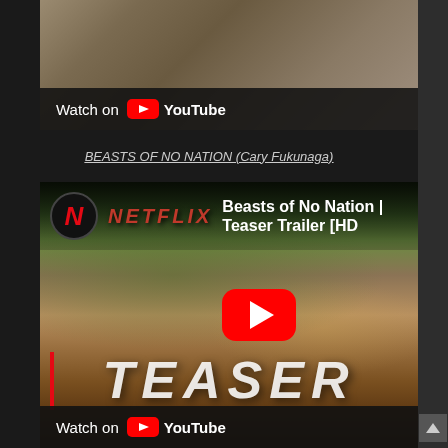[Figure (screenshot): Top video thumbnail showing a partially visible face, with a 'Watch on YouTube' overlay bar at the bottom]
BEASTS OF NO NATION (Cary Fukunaga)
[Figure (screenshot): Netflix trailer thumbnail for 'Beasts of No Nation | Teaser Trailer [HD]' showing the Netflix logo, a scene with a child soldier in foliage, a red YouTube play button overlay, and the word TEASER at the bottom, with a 'Watch on YouTube' bar]